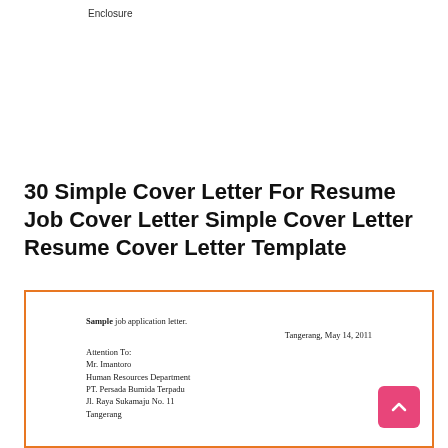Enclosure
30 Simple Cover Letter For Resume Job Cover Letter Simple Cover Letter Resume Cover Letter Template
[Figure (screenshot): A preview of a sample job application letter with orange border. Contains text: Sample job application letter. Date: Tangerang, May 14, 2011. Attention To: Mr. Imantoro, Human Resources Department, PT. Persada Bumida Terpadu, Jl. Raya Sukamaju No. 11, Tangerang.]
Sample job application letter.
Tangerang, May 14, 2011
Attention To:
Mr. Imantoro
Human Resources Department
PT. Persada Bumida Terpadu
Jl. Raya Sukamaju No. 11
Tangerang